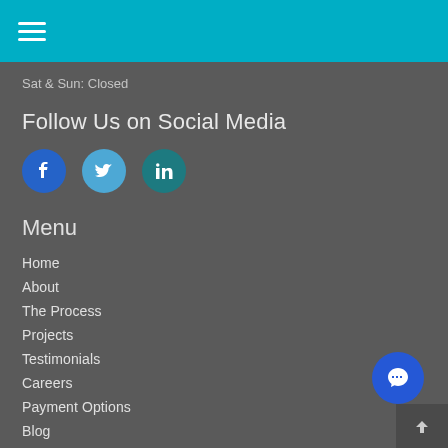Navigation header bar with hamburger menu icon
Sat & Sun: Closed
Follow Us on Social Media
[Figure (infographic): Three social media icons in circles: Facebook (dark blue), Twitter (light blue), LinkedIn (teal)]
Menu
Home
About
The Process
Projects
Testimonials
Careers
Payment Options
Blog
Contact